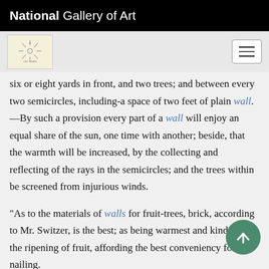National Gallery of Art
[Figure (logo): National Gallery of Art decorative logo icon — sunburst/compass rose design on cream background]
six or eight yards in front, and two trees; and between every two semicircles, including-a space of two feet of plain wall.—By such a provision every part of a wall will enjoy an equal share of the sun, one time with another; beside, that the warmth will be increased, by the collecting and reflecting of the rays in the semicircles; and the trees within be screened from injurious winds.
“As to the materials of walls for fruit-trees, brick, according to Mr. Switzer, is the best; as being warmest and kindest for the ripening of fruit, affording the best conveniency for nailing.